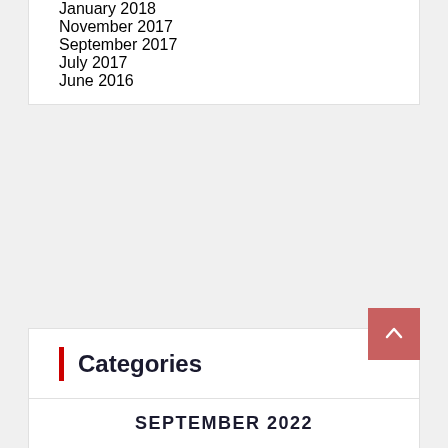January 2018
November 2017
September 2017
July 2017
June 2016
Categories
dentist
fitness
general
health
medicine
SEPTEMBER 2022